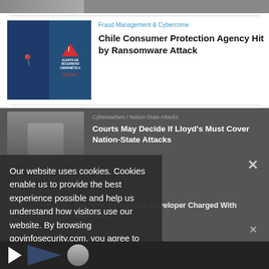[Figure (photo): Partial top image strip, cropped]
Fraud Management & Cybercrime
Chile Consumer Protection Agency Hit by Ransomware Attack
[Figure (photo): Alerta de Seguridad Cibernetica - CERT warning poster image]
Cyberwarfare / Nation-State Attacks
Courts May Decide If Lloyd's Must Cover Nation-State Attacks
[Figure (photo): Man in suit, article thumbnail]
EXCLUSIVE
For Hire: Ex-Ubiquiti Developer Charged With Extortion
[Figure (photo): Person thumbnail for article 3]
Our website uses cookies. Cookies enable us to provide the best experience possible and help us understand how visitors use our website. By browsing govinfosecurity.com, you agree to our use of cookies.